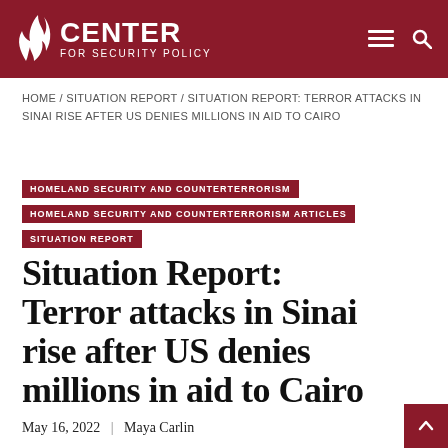CENTER FOR SECURITY POLICY
HOME / SITUATION REPORT / SITUATION REPORT: TERROR ATTACKS IN SINAI RISE AFTER US DENIES MILLIONS IN AID TO CAIRO
HOMELAND SECURITY AND COUNTERTERRORISM
HOMELAND SECURITY AND COUNTERTERRORISM ARTICLES
SITUATION REPORT
Situation Report: Terror attacks in Sinai rise after US denies millions in aid to Cairo
May 16, 2022 | Maya Carlin